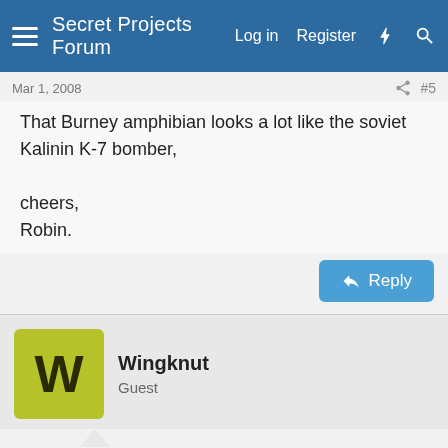Secret Projects Forum  Log in  Register
Mar 1, 2008   #5
That Burney amphibian looks a lot like the soviet Kalinin K-7 bomber,

cheers,
Robin.
Wingknut
Guest
Mar 2, 2008   #6
This site uses cookies to help personalise content, tailor your experience and to keep you logged in if you register.
By continuing to use this site, you are consenting to our use of cookies.